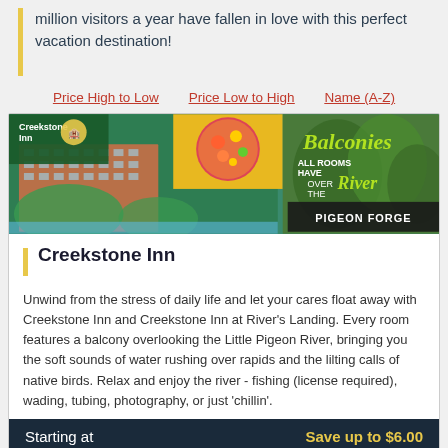million visitors a year have fallen in love with this perfect vacation destination!
Price High to Low   Price Low to High   Name (A-Z)
[Figure (photo): Creekstone Inn hotel advertisement banner showing hotel building with river, food, and text 'ALL ROOMS HAVE Balconies OVER THE River PIGEON FORGE']
Creekstone Inn
Unwind from the stress of daily life and let your cares float away with Creekstone Inn and Creekstone Inn at River's Landing. Every room features a balcony overlooking the Little Pigeon River, bringing you the soft sounds of water rushing over rapids and the lilting calls of native birds. Relax and enjoy the river - fishing (license required), wading, tubing, photography, or just 'chillin'.
Starting at   Save up to $6.00